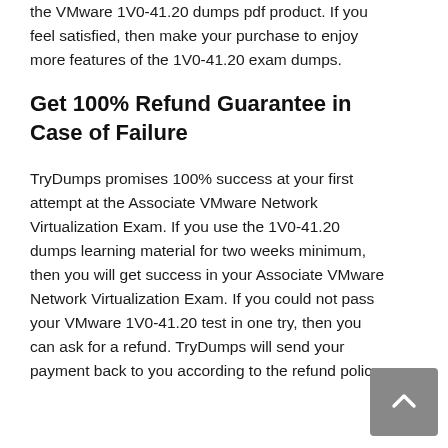the VMware 1V0-41.20 dumps pdf product. If you feel satisfied, then make your purchase to enjoy more features of the 1V0-41.20 exam dumps.
Get 100% Refund Guarantee in Case of Failure
TryDumps promises 100% success at your first attempt at the Associate VMware Network Virtualization Exam. If you use the 1V0-41.20 dumps learning material for two weeks minimum, then you will get success in your Associate VMware Network Virtualization Exam. If you could not pass your VMware 1V0-41.20 test in one try, then you can ask for a refund. TryDumps will send your payment back to you according to the refund policy.